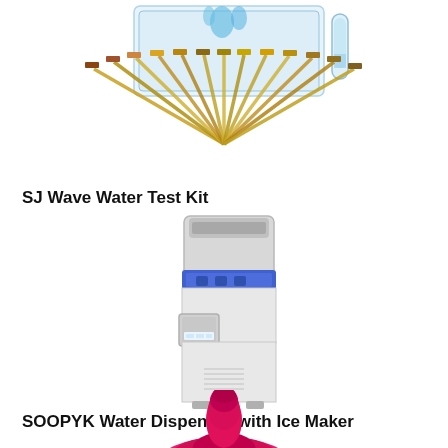[Figure (photo): SJ Wave Water Test Kit product photo showing test strips fanned out with a box and a test tube]
SJ Wave Water Test Kit
[Figure (photo): SOOPYK Water Dispenser with Ice Maker - a white floor-standing unit with blue accent lighting and an ice maker compartment]
SOOPYK Water Dispenser with Ice Maker
[Figure (photo): A pink/magenta colored water dispenser bottle cap or pump top accessory]